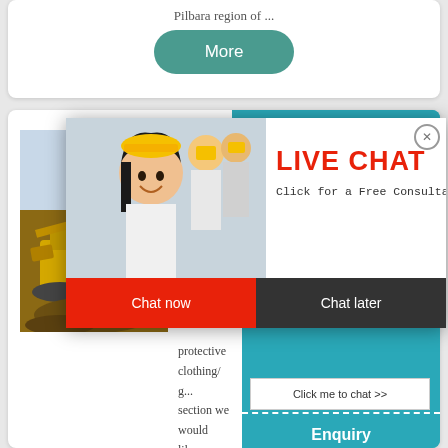Pilbara region of ...
More
Mining Safety and ... Mining
[Figure (photo): Mining equipment / excavator at work site]
protective clothing/ g... section we would like... correct clothing and g... perform many differe... activities. The Mining... do well to follow the example from
[Figure (photo): Live Chat popup overlay with smiling woman, construction workers, LIVE CHAT heading, Chat now and Chat later buttons]
7 hours online
Click me to chat >>
Enquiry
superbrian707@g...